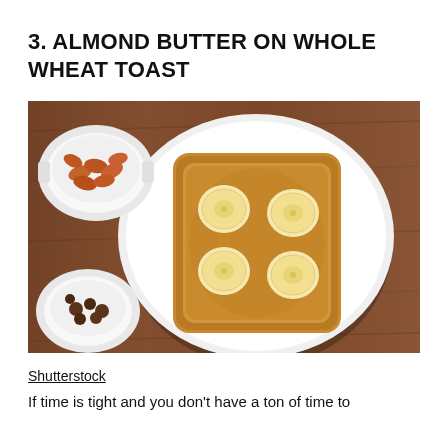3. ALMOND BUTTER ON WHOLE WHEAT TOAST
[Figure (photo): Overhead view of almond butter spread on whole wheat toast topped with banana slices on a white plate, with a small white ceramic bowl of almonds in the upper left and a small bowl of raisins in the lower left, set on a wooden table background]
Shutterstock
If time is tight and you don't have a ton of time to